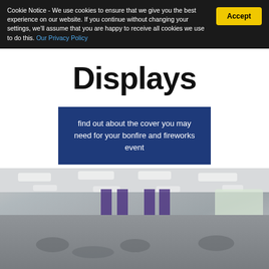Cookie Notice - We use cookies to ensure that we give you the best experience on our website. If you continue without changing your settings, we'll assume that you are happy to receive all cookies we use to do this. Our Privacy Policy
Displays
find out about the cover you may need for your bonfire and fireworks event
[Figure (photo): Blurred photograph of an office interior with ceiling lights, purple curtains, and people working at desks]